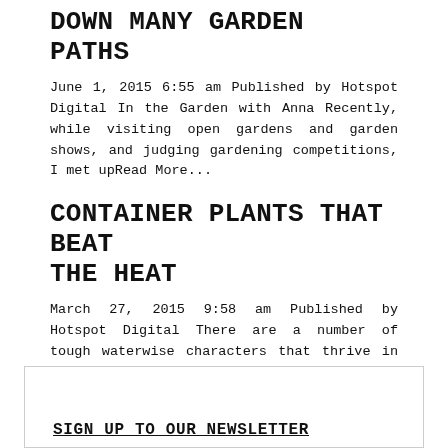DOWN MANY GARDEN PATHS
June 1, 2015 6:55 am Published by Hotspot Digital In the Garden with Anna Recently, while visiting open gardens and garden shows, and judging gardening competitions, I met upRead More...
CONTAINER PLANTS THAT BEAT THE HEAT
March 27, 2015 9:58 am Published by Hotspot Digital There are a number of tough waterwise characters that thrive in containers and love being out in the midday sun.Read More...
SIGN UP TO OUR NEWSLETTER